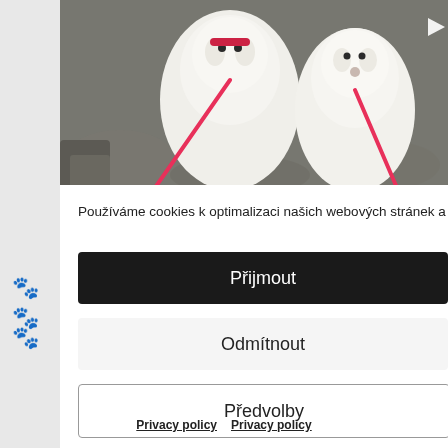[Figure (photo): Two white fluffy dogs on pink leashes sitting on rocky ground outdoors. A play button icon is visible in the top right corner of the image.]
Používáme cookies k optimalizaci našich webových stránek a našich služeb.
Přijmout
Odmítnout
Předvolby
Privacy policy  Privacy policy